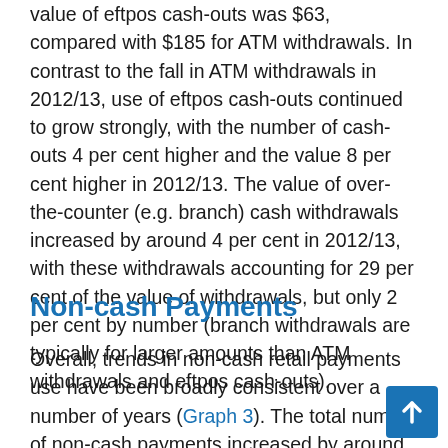value of eftpos cash-outs was $63, compared with $185 for ATM withdrawals. In contrast to the fall in ATM withdrawals in 2012/13, use of eftpos cash-outs continued to grow strongly, with the number of cash-outs 4 per cent higher and the value 8 per cent higher in 2012/13. The value of over-the-counter (e.g. branch) cash withdrawals increased by around 4 per cent in 2012/13, with these withdrawals accounting for 29 per cent of the value of withdrawals, but only 2 per cent by number (branch withdrawals are typically for larger amounts than ATM withdrawals and eftpos cash-outs).
Non-cash Payments
Overall, trends in non-cash retail payments use have been broadly consistent over a number of years (Graph 3). The total number of non-cash payments increased by around 8 per cent in 2012/13, with thi...